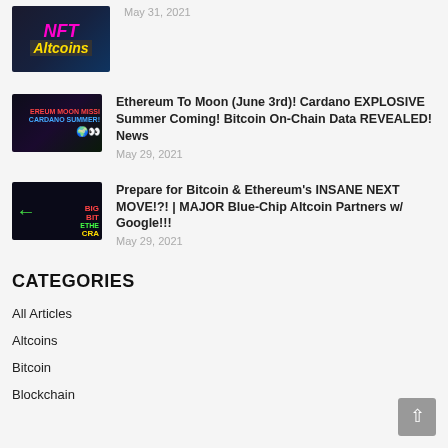[Figure (screenshot): NFT Altcoins thumbnail with pink NFT text and yellow Altcoins text on dark background]
May 31, 2021
[Figure (screenshot): Ethereum Moon Mission Cardano Summer thumbnail with colorful planet characters on dark background]
Ethereum To Moon (June 3rd)! Cardano EXPLOSIVE Summer Coming! Bitcoin On-Chain Data REVEALED! News
May 29, 2021
[Figure (screenshot): BIG Bitcoin Ethereum CRA thumbnail with red text and green arrow on dark chart background]
Prepare for Bitcoin & Ethereum's INSANE NEXT MOVE!?! | MAJOR Blue-Chip Altcoin Partners w/ Google!!!
May 29, 2021
CATEGORIES
All Articles
Altcoins
Bitcoin
Blockchain